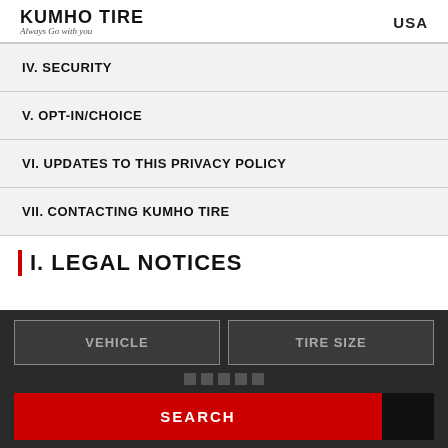KUMHO TIRE — Always Go with you — USA
IV. SECURITY
V. OPT-IN/CHOICE
VI. UPDATES TO THIS PRIVACY POLICY
VII. CONTACTING KUMHO TIRE
I. LEGAL NOTICES
VEHICLE | TIRE SIZE | SEARCH